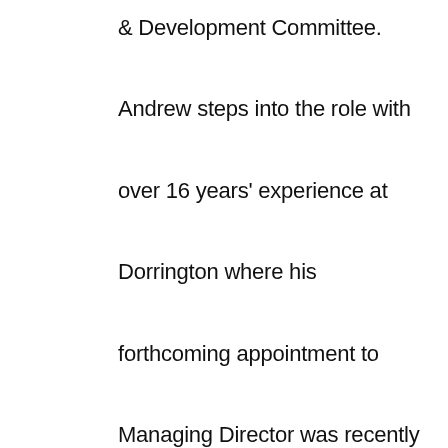& Development Committee. Andrew steps into the role with over 16 years' experience at Dorrington where his forthcoming appointment to Managing Director was recently announced, having been on the Board for ten years. During his time at Dorrington, Andrew has specialised in residential and